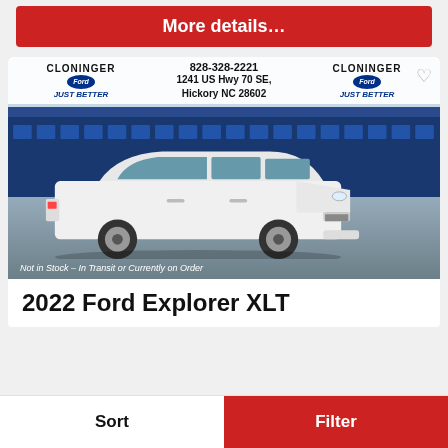More details…
[Figure (photo): White 2022 Ford Explorer XLT SUV photographed at a Cloninger Ford dealership. The dealership banner shows: CLONINGER FORD JUST BETTER, 828-328-2221, 1241 US Hwy 70 SE, Hickory NC 28602. A notice reads: Not in Stock – In Transit or Currently on Order.]
2022 Ford Explorer XLT
Sort
Filter